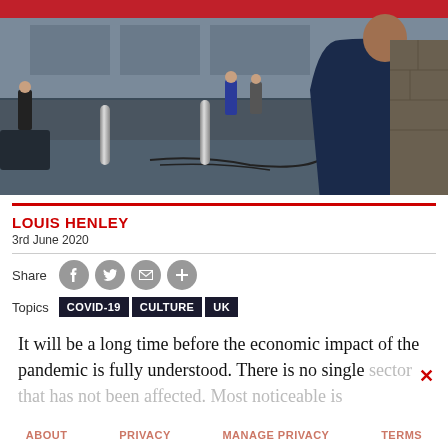[Figure (photo): Outdoor scene showing people standing in a public area with metal bollards. A person in a dark navy shirt is visible from behind on the right holding equipment. Several people stand in the background near what appears to be a building entrance.]
LOUIS HENLEY
3rd June 2020
Share
Topics COVID-19 CULTURE UK
It will be a long time before the economic impact of the pandemic is fully understood. There is no single sector that has not been affected. Most noticeable is
ABOUT   PRIVACY   MANAGE PRIVACY   TERMS